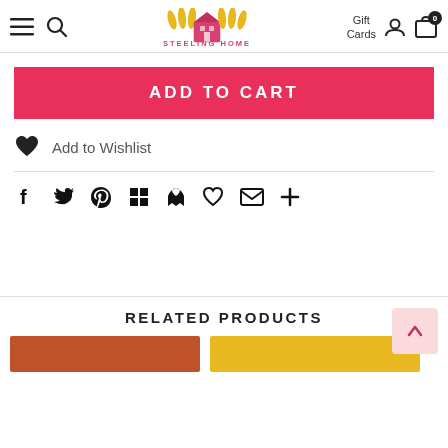Steeling Home — navigation header with hamburger menu, search, logo, Gift Cards, user icon, cart (0)
ADD TO CART
Add to Wishlist
[Figure (infographic): Social sharing icons row: Facebook, Twitter, Pinterest, grid/apps, Feedly, heart, email, plus]
RELATED PRODUCTS
[Figure (photo): Two partial product thumbnail images at bottom: left one with orange/brown background, right one with yellow background]